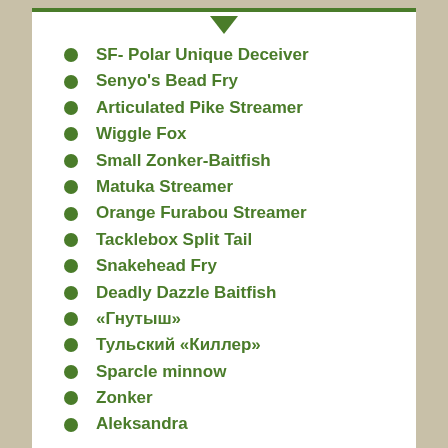SF- Polar Unique Deceiver
Senyo's Bead Fry
Articulated Pike Streamer
Wiggle Fox
Small Zonker-Baitfish
Matuka Streamer
Orange Furabou Streamer
Tacklebox Split Tail
Snakehead Fry
Deadly Dazzle Baitfish
«Гнутыш»
Тульский «Киллер»
Sparcle minnow
Zonker
Aleksandra